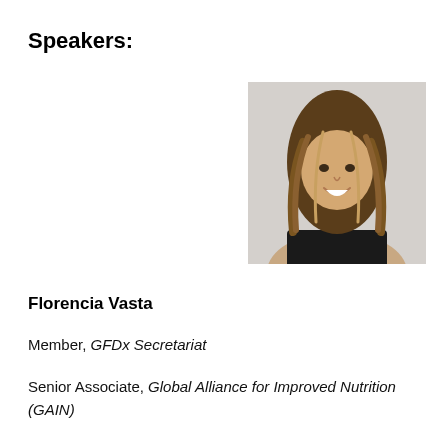Speakers:
[Figure (photo): Headshot of Florencia Vasta, a woman with long straight hair, smiling, wearing a dark top against a light grey background.]
Florencia Vasta
Member, GFDx Secretariat
Senior Associate, Global Alliance for Improved Nutrition (GAIN)